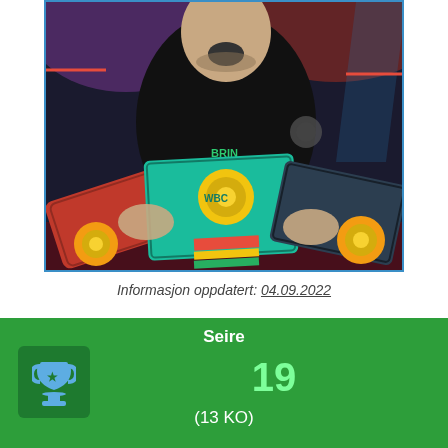[Figure (photo): A boxer celebrating with multiple championship belts including WBC belt, smiling with mouth open, wearing a black t-shirt, arena lighting in background with red and purple lights]
Informasjon oppdatert: 04.09.2022
Seire
19
(13 KO)